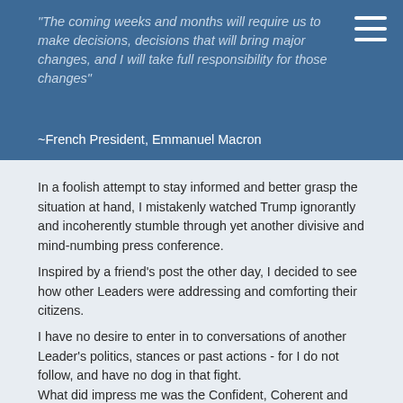"The coming weeks and months will require us to make decisions, decisions that will bring major changes, and I will take full responsibility for those changes" ~French President, Emmanuel Macron
In a foolish attempt to stay informed and better grasp the situation at hand, I mistakenly watched Trump ignorantly and incoherently stumble through yet another divisive and mind-numbing press conference.
Inspired by a friend's post the other day, I decided to see how other Leaders were addressing and comforting their citizens.
I have no desire to enter in to conversations of another Leader's politics, stances or past actions - for I do not follow, and have no dog in that fight.
What did impress me was the Confident, Coherent and Compassionate messages that were delivered to their Citizens. In such interesting times like these, it is encouraging and